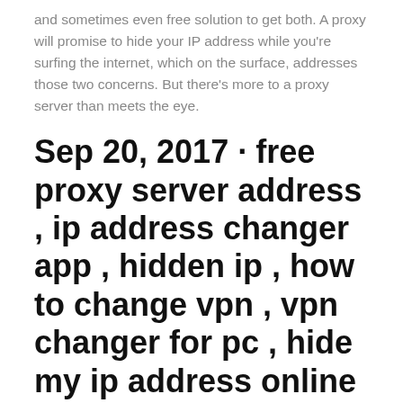and sometimes even free solution to get both. A proxy will promise to hide your IP address while you're surfing the internet, which on the surface, addresses those two concerns. But there's more to a proxy server than meets the eye.
Sep 20, 2017 · free proxy server address , ip address changer app , hidden ip , how to change vpn , vpn changer for pc , hide my ip address online , free online proxy server , hideipvpn , how to get us netflix ,
Our proxies are public socks proxy which we collect from the internet. They are unstable and usually slow but very cheap, considering a private proxy charges $1+/month. Our proxies are suitable for users who need a lot of IP addresses and use